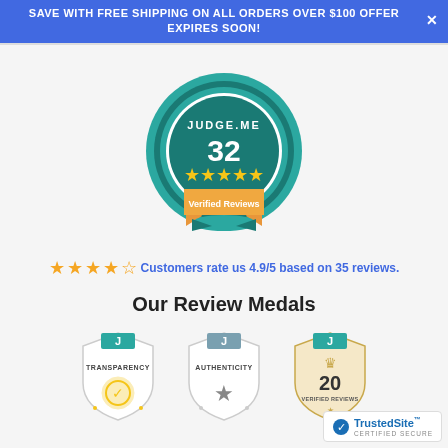SAVE WITH FREE SHIPPING ON ALL ORDERS OVER $100 OFFER EXPIRES SOON!
[Figure (logo): Judge.me badge showing 32 verified reviews with 5 gold stars and teal/orange ribbon design]
Customers rate us 4.9/5 based on 35 reviews.
Our Review Medals
[Figure (illustration): Three Judge.me medal badges: Transparency medal (teal shield with checkmark), Authenticity medal (grey shield with star), and 20 Verified Reviews gold medal]
[Figure (logo): TrustedSite Certified Secure badge with blue checkmark]